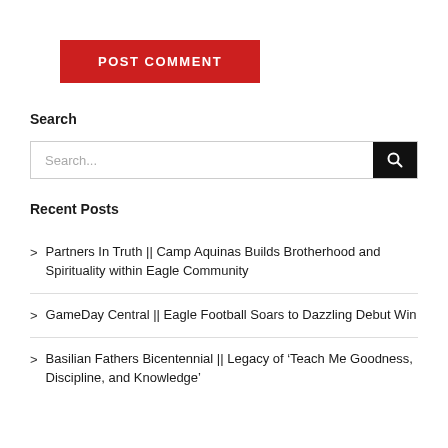POST COMMENT
Search
Search...
Recent Posts
Partners In Truth || Camp Aquinas Builds Brotherhood and Spirituality within Eagle Community
GameDay Central || Eagle Football Soars to Dazzling Debut Win
Basilian Fathers Bicentennial || Legacy of ‘Teach Me Goodness, Discipline, and Knowledge’